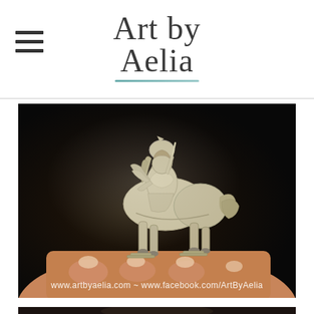Art by Aelia
[Figure (photo): A small metallic silver miniature figurine of a mounted warrior/knight on horseback being held between fingers, with a dark background. The figurine shows fine detail of a rider on a rearing horse. Watermark reads: www.artbyaelia.com ~ www.facebook.com/ArtByAelia]
[Figure (photo): Partial view of another miniature figurine photo, cropped at bottom of page]